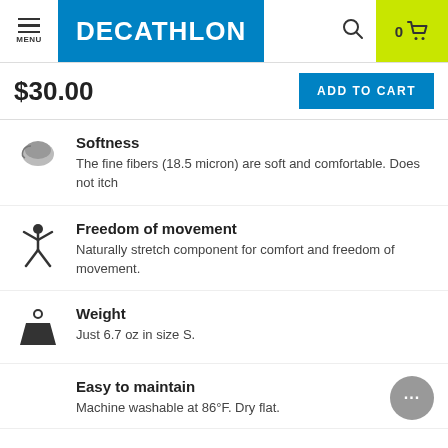MENU | DECATHLON | 0 cart
$30.00
ADD TO CART
Softness — The fine fibers (18.5 micron) are soft and comfortable. Does not itch
Freedom of movement — Naturally stretch component for comfort and freedom of movement.
Weight — Just 6.7 oz in size S.
Easy to maintain — Machine washable at 86°F. Dry flat.